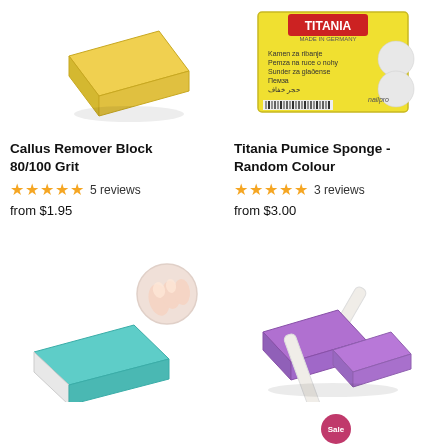[Figure (photo): Yellow callus remover/sanding block, rectangular, viewed at angle on white background]
Callus Remover Block 80/100 Grit
★★★★★ 5 reviews
from $1.95
[Figure (photo): Titania Pumice Sponge yellow product box with text in multiple languages and circular product illustrations, Made in Germany]
Titania Pumice Sponge - Random Colour
★★★★★ 3 reviews
from $3.00
[Figure (photo): Teal/mint colored nail buffer block with white side, and inset circular image showing smooth fingernails being buffed]
[Figure (photo): Purple pumice sponge blocks with white nail files/emery boards arranged on white background, with partial purple sale badge visible at bottom]